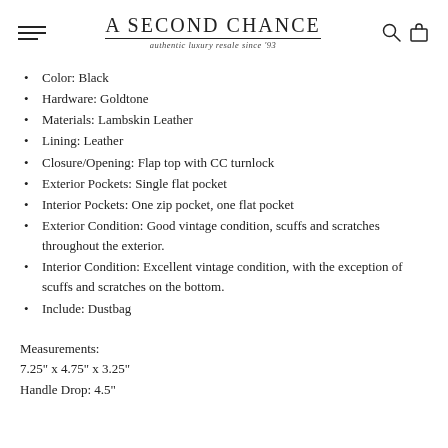A SECOND CHANCE — authentic luxury resale since '93
Color: Black
Hardware: Goldtone
Materials: Lambskin Leather
Lining: Leather
Closure/Opening: Flap top with CC turnlock
Exterior Pockets: Single flat pocket
Interior Pockets: One zip pocket, one flat pocket
Exterior Condition: Good vintage condition, scuffs and scratches throughout the exterior.
Interior Condition: Excellent vintage condition, with the exception of scuffs and scratches on the bottom.
Include: Dustbag
Measurements:
7.25" x 4.75" x 3.25"
Handle Drop: 4.5"